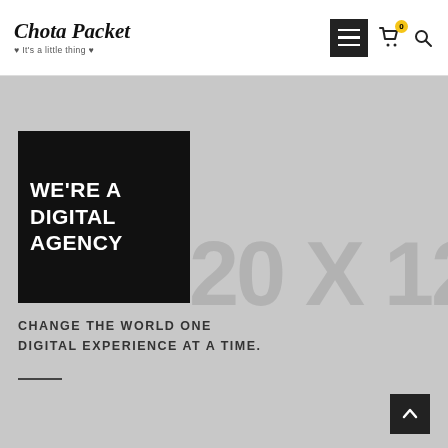Chota Packet — It's a little thing
[Figure (screenshot): Website screenshot showing ChotaPacket logo on top left, hamburger menu button, cart icon with badge (0), and search icon on top right]
WE'RE A DIGITAL AGENCY
CHANGE THE WORLD ONE DIGITAL EXPERIENCE AT A TIME.